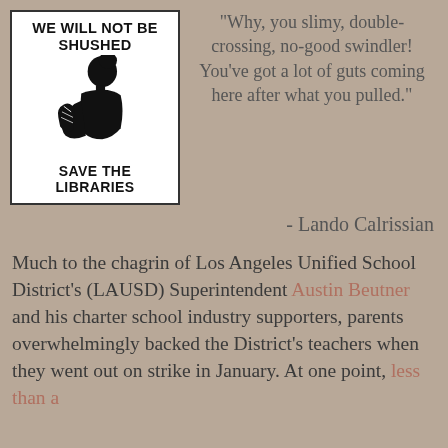[Figure (illustration): A black and white poster with the text 'WE WILL NOT BE SHUSHED' at the top, a silhouette of a woman reading a book in the center, and 'SAVE THE LIBRARIES' at the bottom.]
“Why, you slimy, double-crossing, no-good swindler! You’ve got a lot of guts coming here after what you pulled.”
- Lando Calrissian
Much to the chagrin of Los Angeles Unified School District’s (LAUSD) Superintendent Austin Beutner and his charter school industry supporters, parents overwhelmingly backed the District’s teachers when they went out on strike in January. At one point, less than a